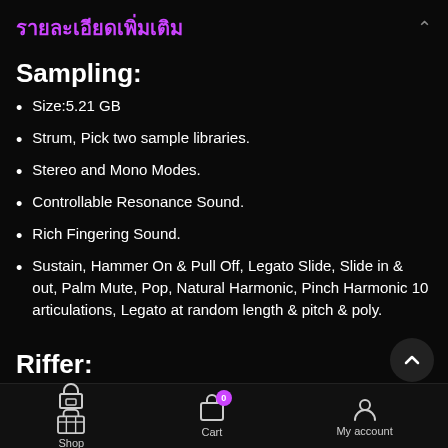รายละเอียดเพิ่มเติม
Sampling:
Size:5.21 GB
Strum, Pick two sample libraries.
Stereo and Mono Modes.
Controllable Resonance Sound.
Rich Fingering Sound.
Sustain, Hammer On & Pull Off, Legato Slide, Slide in & out, Palm Mute, Pop, Natural Harmonic, Pinch Harmonic 10 articulations, Legato at random length & pitch & poly.
Riffer:
Shop  Cart  My account